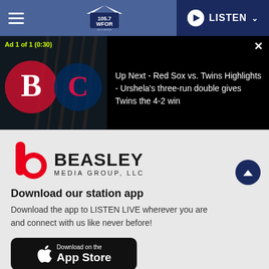105.7 WFOR | LISTEN
[Figure (screenshot): Video ad showing Red Sox vs Twins logos on dark background with text: Ad 1 of 1 (0:30). Up Next - Red Sox vs. Twins Highlights - Urshela's three-run double gives Twins the 4-2 win]
[Figure (logo): Beasley Media Group, LLC logo - red b icon with black BEASLEY MEDIA GROUP, LLC text]
Download our station app
Download the app to LISTEN LIVE wherever you are and connect with us like never before!
[Figure (logo): Download on the App Store button - black rounded rectangle with Apple logo and text]